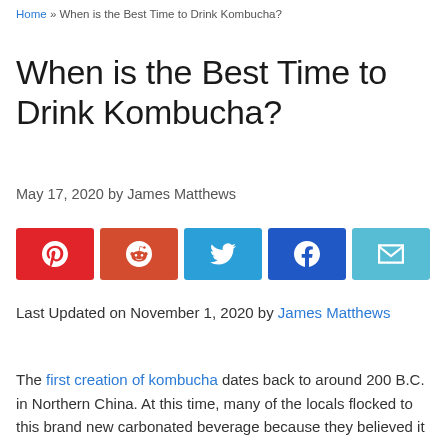Home » When is the Best Time to Drink Kombucha?
When is the Best Time to Drink Kombucha?
May 17, 2020 by James Matthews
[Figure (other): Social share buttons: Pinterest (red), Reddit (orange-red), Twitter (blue), Facebook (dark blue), Email (light blue)]
Last Updated on November 1, 2020 by James Matthews
The first creation of kombucha dates back to around 200 B.C. in Northern China. At this time, many of the locals flocked to this brand new carbonated beverage because they believed it